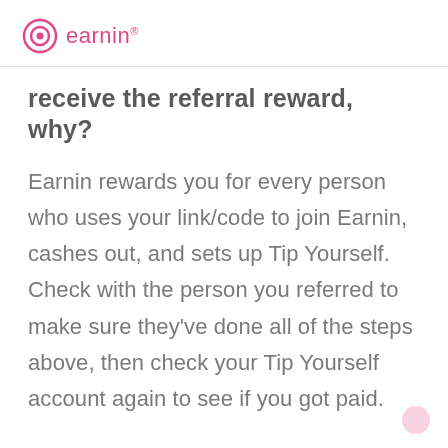earnin
receive the referral reward, why?
Earnin rewards you for every person who uses your link/code to join Earnin, cashes out, and sets up Tip Yourself. Check with the person you referred to make sure they've done all of the steps above, then check your Tip Yourself account again to see if you got paid.